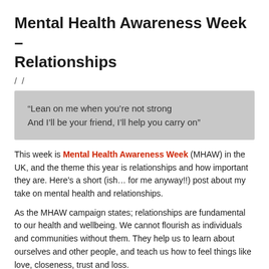Mental Health Awareness Week – Relationships
/ /
“Lean on me when you’re not strong
And I’ll be your friend, I’ll help you carry on”
This week is Mental Health Awareness Week (MHAW) in the UK, and the theme this year is relationships and how important they are. Here’s a short (ish… for me anyway!!) post about my take on mental health and relationships.
As the MHAW campaign states; relationships are fundamental to our health and wellbeing. We cannot flourish as individuals and communities without them. They help us to learn about ourselves and other people, and teach us how to feel things like love, closeness, trust and loss.
They are incredibly important for our mental health. Good